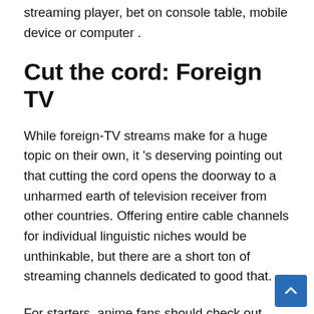streaming player, bet on console table, mobile device or computer .
Cut the cord: Foreign TV
While foreign-TV streams make for a huge topic on their own, it 's deserving pointing out that cutting the cord opens the doorway to a unharmed earth of television receiver from other countries. Offering entire cable channels for individual linguistic niches would be unthinkable, but there are a short ton of streaming channels dedicated to good that.
For starters, anime fans should check out Crunchyroll. DramaFever brings Korean drama and sitcoms to western audiences, while YuppTV